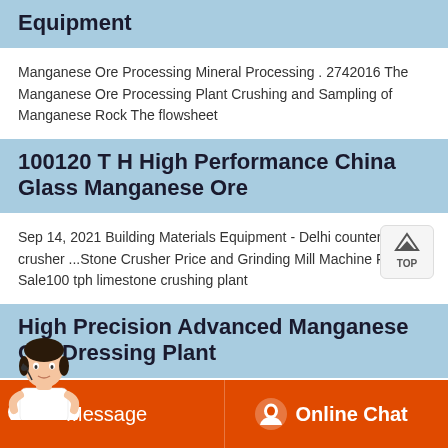Equipment
Manganese Ore Processing Mineral Processing . 2742016 The Manganese Ore Processing Plant Crushing and Sampling of Manganese Rock The flowsheet
100120 T H High Performance China Glass Manganese Ore
Sep 14, 2021 Building Materials Equipment - Delhi counterattack crusher ...Stone Crusher Price and Grinding Mill Machine For Sale100 tph limestone crushing plant
High Precision Advanced Manganese Ore Dressing Plant
Message   Online Chat